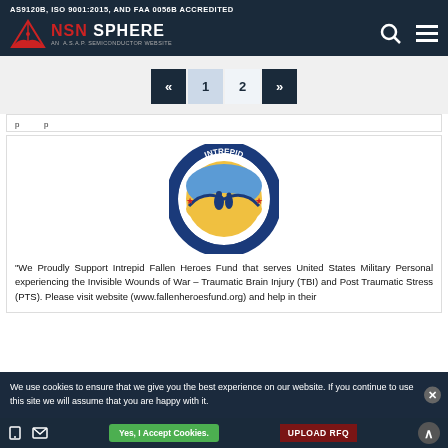AS9120B, ISO 9001:2015, AND FAA 0056B ACCREDITED — NSN SPHERE, AN A.S.A.P. SEMICONDUCTOR WEBSITE
« 1 2 »
(truncated/partial text row)
[Figure (logo): Intrepid Fallen Heroes Fund circular logo with blue border, red stars, yellow/blue scene of figures on a bridge]
"We Proudly Support Intrepid Fallen Heroes Fund that serves United States Military Personal experiencing the Invisible Wounds of War – Traumatic Brain Injury (TBI) and Post Traumatic Stress (PTS). Please visit website (www.fallenheroesfund.org) and help in their mission."
We use cookies to ensure that we give you the best experience on our website. If you continue to use this site we will assume that you are happy with it.
Yes, I Accept Cookies.   UPLOAD RFQ